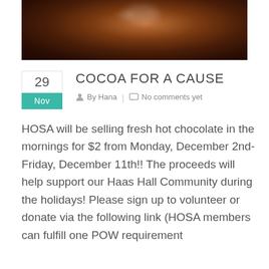[Figure (photo): Close-up photo of hot chocolate in a mug, dark brown liquid with a glossy surface, marshmallows visible in background]
COCOA FOR A CAUSE
By Hana | No comments yet
HOSA will be selling fresh hot chocolate in the mornings for $2 from Monday, December 2nd-Friday, December 11th!! The proceeds will help support our Haas Hall Community during the holidays! Please sign up to volunteer or donate via the following link (HOSA members can fulfill one POW requirement